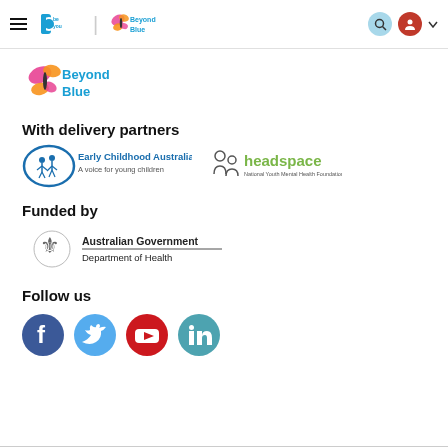BeYou | Beyond Blue — navigation bar with search and user icons
[Figure (logo): Beyond Blue logo with butterfly icon in pink/yellow/orange and blue text]
With delivery partners
[Figure (logo): Early Childhood Australia logo — oval with children figures, text: Early Childhood Australia, A voice for young children]
[Figure (logo): headspace National Youth Mental Health Foundation logo]
Funded by
[Figure (logo): Australian Government Department of Health logo with coat of arms]
Follow us
[Figure (infographic): Social media icons: Facebook (blue), Twitter (light blue), YouTube (red), LinkedIn (teal/blue)]